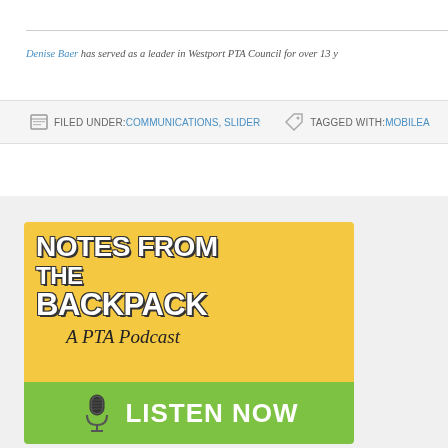Denise Baer has served as a leader in Westport PTA Council for over 13 y…
FILED UNDER: COMMUNICATIONS, SLIDER  TAGGED WITH: MOBILEA…
[Figure (illustration): Notes from the Backpack - A PTA Podcast. Yellow background with bold white text. Green bottom banner with microphone icon and LISTEN NOW text.]